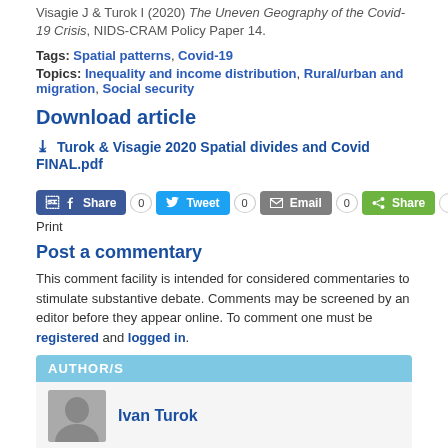Visagie J & Turok I (2020) The Uneven Geography of the Covid-19 Crisis, NIDS-CRAM Policy Paper 14.
Tags: Spatial patterns, Covid-19
Topics: Inequality and income distribution, Rural/urban and migration, Social security
Download article
Turok & Visagie 2020 Spatial divides and Covid FINAL.pdf
[Figure (other): Social sharing buttons row: Facebook Share (0), Twitter Tweet (0), Email (0), ShareThis Share (New), and Print link below]
Post a commentary
This comment facility is intended for considered commentaries to stimulate substantive debate. Comments may be screened by an editor before they appear online. To comment one must be registered and logged in.
AUTHOR/S
Ivan Turok